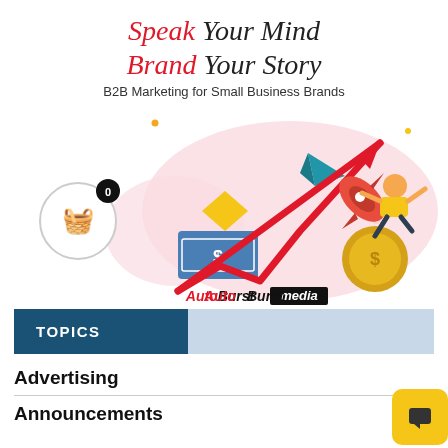Speak Your Mind Brand Your Story
B2B Marketing for Small Business Brands
[Figure (illustration): Illustrated hero image with pink blob background, a person flying with a rocket, an upward red arrow, paper plane, dollar bill, gold coin, yellow diamond shape, and AutoBurstmedia logo at the bottom. A shopping basket button with 0 badge on the left.]
TOPICS
Advertising
Announcements